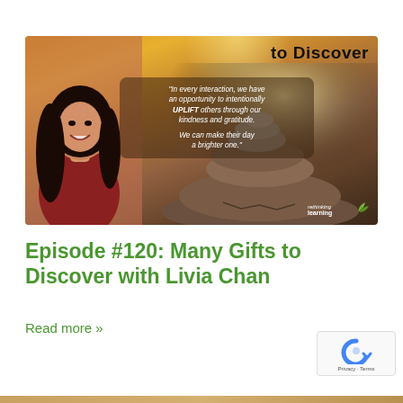[Figure (photo): Banner image with a woman smiling (Livia Chan) on the left against a warm sunset background, stacked stones in the center-right, with the text 'to Discover' at top right, a quote about uplifting others through kindness and gratitude, and the 'rethinking learning' logo at bottom right.]
Episode #120: Many Gifts to Discover with Livia Chan
Read more »